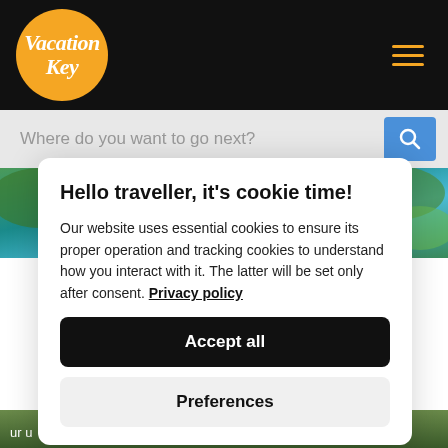VacationKey
Where do you want to go next?
[Figure (photo): Aerial photo of coastal area with turquoise water and greenery, labeled Viareggio Versilia]
Hello traveller, it's cookie time!
Our website uses essential cookies to ensure its proper operation and tracking cookies to understand how you interact with it. The latter will be set only after consent. Privacy policy
Accept all
Preferences